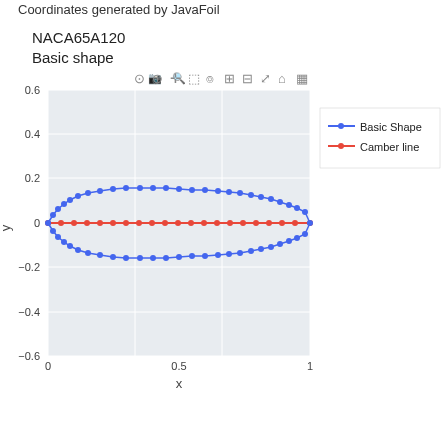Coordinates generated by JavaFoil
NACA65A120
Basic shape
[Figure (continuous-plot): NACA65A120 airfoil plot showing Basic Shape (blue dots) forming a symmetric airfoil outline and Camber line (red dots) along y=0. X-axis ranges 0 to 1, Y-axis ranges -0.6 to 0.6. Legend shows Basic Shape in blue and Camber line in red.]